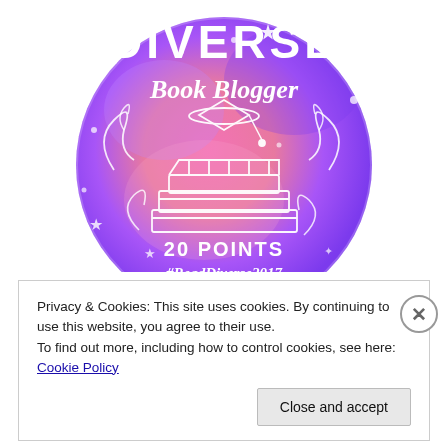[Figure (illustration): Circular badge with pink-to-purple gradient background with stars. Text reads 'DIVERSE Book Blogger' at the top in white. Center shows a white line drawing of stacked books with a graduation cap and decorative swirls. Bottom text reads '20 POINTS #ReadDiverse2017' in white.]
Privacy & Cookies: This site uses cookies. By continuing to use this website, you agree to their use.
To find out more, including how to control cookies, see here: Cookie Policy
Close and accept